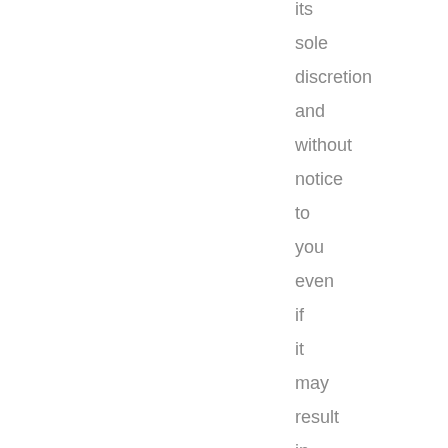its sole discretion and without notice to you even if it may result in you being prevented